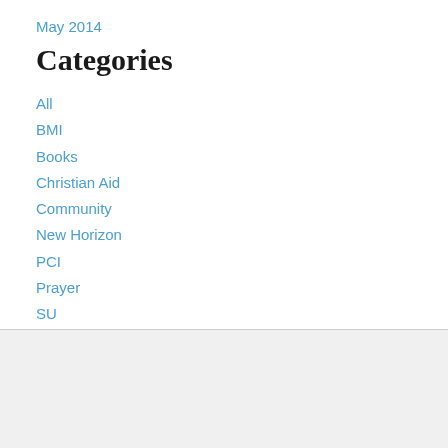May 2014
Categories
All
BMI
Books
Christian Aid
Community
New Horizon
PCI
Prayer
SU
Websites
RSS Feed